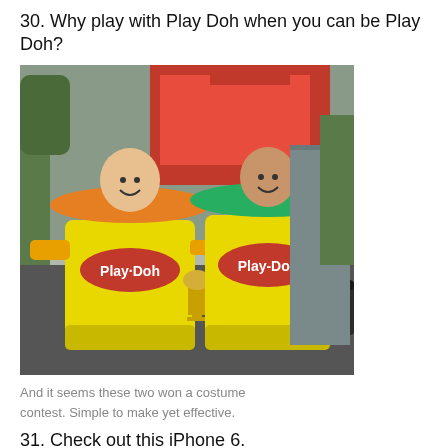30. Why play with Play Doh when you can be Play Doh?
[Figure (photo): Two people dressed in yellow Play-Doh can costumes with colored lids (orange and green) on their heads, standing on a city street. One holds a trophy. Play-Doh logos visible on both costumes.]
And it seems these two won a costume contest. Simple to make yet effective.
31. Check out this iPhone 6.